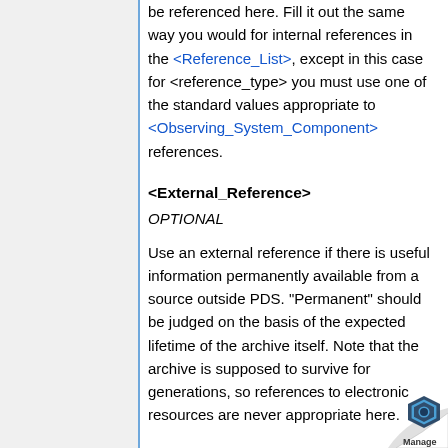be referenced here. Fill it out the same way you would for internal references in the <Reference_List>, except in this case for <reference_type> you must use one of the standard values appropriate to <Observing_System_Component> references.
<External_Reference>
OPTIONAL
Use an external reference if there is useful information permanently available from a source outside PDS. "Permanent" should be judged on the basis of the expected lifetime of the archive itself. Note that the archive is supposed to survive for generations, so references to electronic resources are never appropriate here.